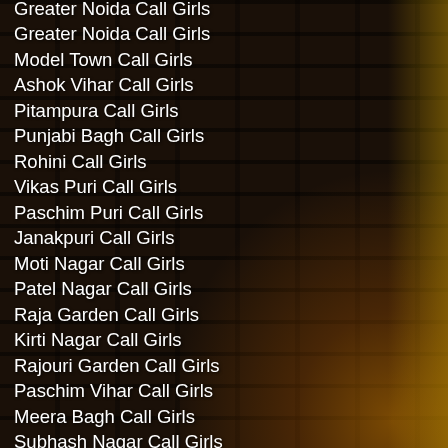Greater Noida Call Girls
Model Town Call Girls
Ashok Vihar Call Girls
Pitampura Call Girls
Punjabi Bagh Call Girls
Rohini Call Girls
Vikas Puri Call Girls
Paschim Puri Call Girls
Janakpuri Call Girls
Moti Nagar Call Girls
Patel Nagar Call Girls
Raja Garden Call Girls
Kirti Nagar Call Girls
Rajouri Garden Call Girls
Paschim Vihar Call Girls
Meera Bagh Call Girls
Subhash Nagar Call Girls
Tilak Nagar Call Girls
Saraswati Vihar Call Girls
Shalimar Bagh Call Girls
Gagan Vihar Call Girls
Surajmal Vihar Call Girls